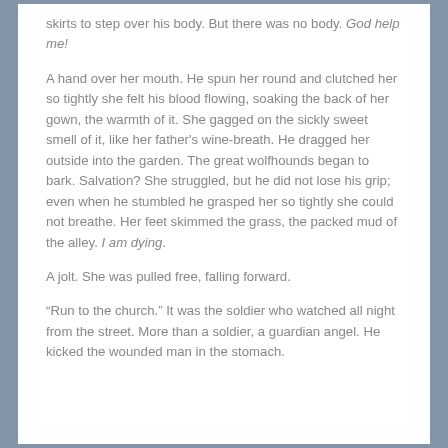skirts to step over his body. But there was no body. God help me!
A hand over her mouth. He spun her round and clutched her so tightly she felt his blood flowing, soaking the back of her gown, the warmth of it. She gagged on the sickly sweet smell of it, like her father's wine-breath. He dragged her outside into the garden. The great wolfhounds began to bark. Salvation? She struggled, but he did not lose his grip; even when he stumbled he grasped her so tightly she could not breathe. Her feet skimmed the grass, the packed mud of the alley. I am dying.
A jolt. She was pulled free, falling forward.
“Run to the church.” It was the soldier who watched all night from the street. More than a soldier, a guardian angel. He kicked the wounded man in the stomach.